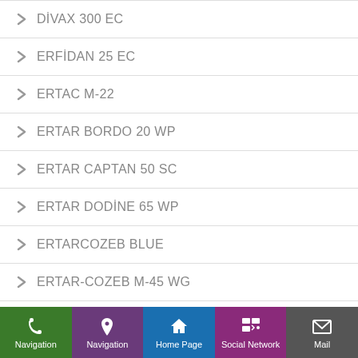DİVAX 300 EC
ERFİDAN 25 EC
ERTAC M-22
ERTAR BORDO 20 WP
ERTAR CAPTAN 50 SC
ERTAR DODİNE 65 WP
ERTARCOZEB BLUE
ERTAR-COZEB M-45 WG
Navigation | Navigation | Home Page | Social Network | Mail